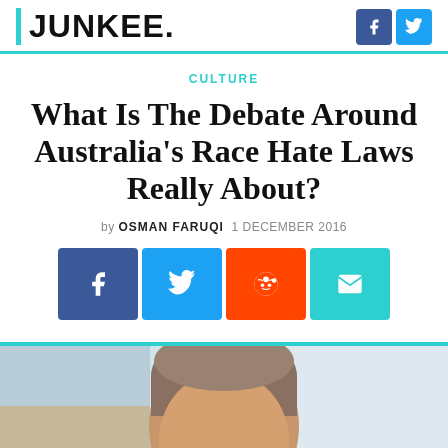JUNKEE.
CULTURE
What Is The Debate Around Australia's Race Hate Laws Really About?
by OSMAN FARUQI 1 DECEMBER 2016
[Figure (other): Social share buttons: Facebook, Twitter, Reddit, Email]
[Figure (photo): Photo of a man with grey-brown hair, light background, partial head/face visible]